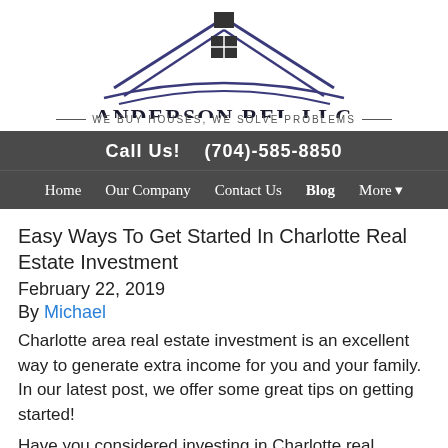[Figure (logo): Anderson REI, LLC logo with house roofline graphic above company name and tagline 'We Buy Houses, We Solve Problems']
Call Us!   (704)-585-8850
Home   Our Company   Contact Us   Blog   More ▾
Easy Ways To Get Started In Charlotte Real Estate Investment
February 22, 2019
By Michael
Charlotte area real estate investment is an excellent way to generate extra income for you and your family. In our latest post, we offer some great tips on getting started!
Have you considered investing in Charlotte real estate?